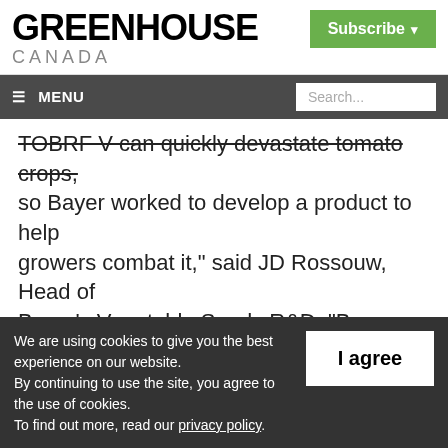GREENHOUSE CANADA
TOBRF V can quickly devastate tomato crops, so Bayer worked to develop a product to help growers combat it," said JD Rossouw, Head of Bayer's Vegetable Seeds R&D. "Bayer leveraged our global cross-functional teams and extensive research and development pipeline to offer a solution designed to ease the day-to-
We are using cookies to give you the best experience on our website. By continuing to use the site, you agree to the use of cookies. To find out more, read our privacy policy.